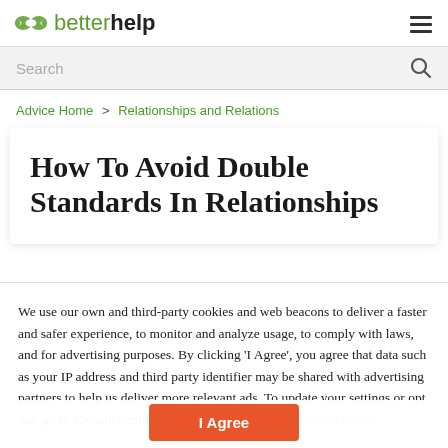betterhelp
Search
Advice Home > Relationships and Relations
How To Avoid Double Standards In Relationships
We use our own and third-party cookies and web beacons to deliver a faster and safer experience, to monitor and analyze usage, to comply with laws, and for advertising purposes. By clicking 'I Agree', you agree that data such as your IP address and third party identifier may be shared with advertising partners to help us deliver more relevant ads. To update your settings or opt out, go to 'Cookie Settings'. To learn more read our Privacy Policy.